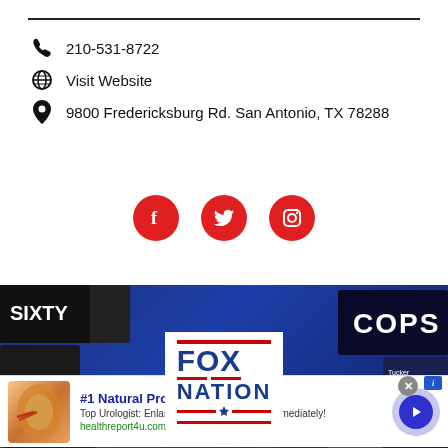210-531-8722
Visit Website
9800 Fredericksburg Rd. San Antonio, TX 78288
[Figure (infographic): Social media icons: Facebook, Twitter, Instagram — white icons on red circles]
[Figure (photo): Fox Nation streaming service promotional banner with blue background and TV show poster tiles. Fox Nation logo centered with white background box. FOX text large below.]
[Figure (infographic): Advertisement banner: #1 Natural Prostate Treatment. Top Urologist: Enlarged Prostate? Do This Immediately! healthreport4u.com]